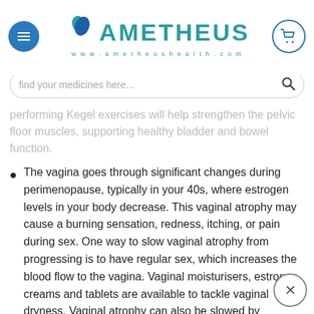AMETHEUS www.ametheushealth.com
different oral contraceptives until you find one that works for you.
After giving birth, you may experience a temporary loss of bladder control. performing Kegel exercises will help strengthen the pelvic floor muscles, supporting healthy bladder and bowel function.
The vagina goes through significant changes during perimenopause, typically in your 40s, where estrogen levels in your body decrease. This vaginal atrophy may cause a burning sensation, redness, itching, or pain during sex. One way to slow vaginal atrophy from progressing is to have regular sex, which increases the blood flow to the vagina. Vaginal moisturisers, estrogen creams and tablets are available to tackle vaginal dryness. Vaginal atrophy can also be slowed by hormone therapy, maintaining a healthy weight, limiting the use of soap and lubricating.